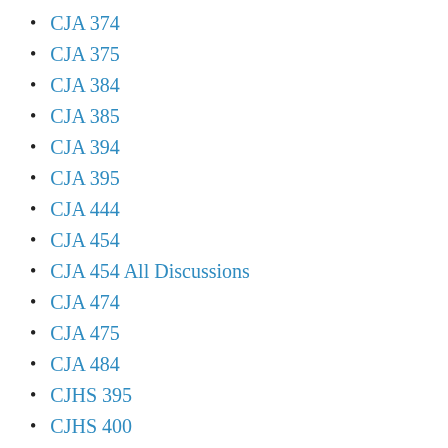CJA 374
CJA 375
CJA 384
CJA 385
CJA 394
CJA 395
CJA 444
CJA 454
CJA 454 All Discussions
CJA 474
CJA 475
CJA 484
CJHS 395
CJHS 400
CJHS 410
CJHS 420